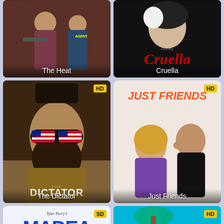[Figure (screenshot): Movie poster for 'The Heat' showing two women with weapons]
[Figure (screenshot): Movie poster for 'Cruella' with Disney branding, black and white style with red text]
[Figure (screenshot): Movie poster for 'The Dictator' with HD badge, man wearing American flag sunglasses]
[Figure (screenshot): Movie poster for 'Just Friends' with HD badge]
[Figure (screenshot): Movie poster for 'Madea Gets a Job' with SD badge]
[Figure (screenshot): Movie poster with HD badge, partially visible at bottom]